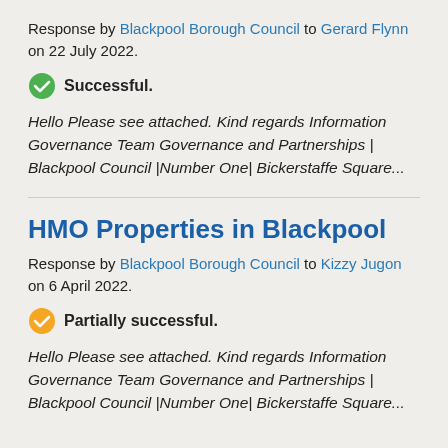Response by Blackpool Borough Council to Gerard Flynn on 22 July 2022.
Successful.
Hello Please see attached. Kind regards Information Governance Team Governance and Partnerships | Blackpool Council |Number One| Bickerstaffe Square...
HMO Properties in Blackpool
Response by Blackpool Borough Council to Kizzy Jugon on 6 April 2022.
Partially successful.
Hello Please see attached. Kind regards Information Governance Team Governance and Partnerships | Blackpool Council |Number One| Bickerstaffe Square...